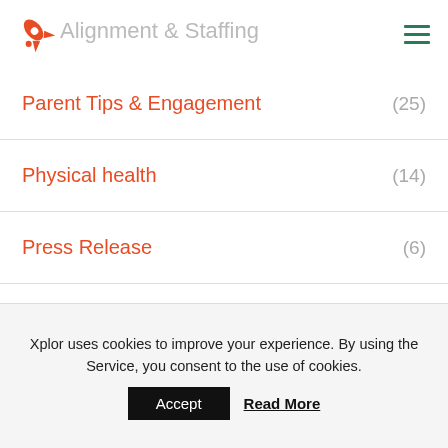Alignment & Staffing
Parent Tips & Engagement (25)
Physical health (14)
Press Release (6)
Red Nose (2)
Social skills (5)
Space (3)
Xplor uses cookies to improve your experience. By using the Service, you consent to the use of cookies.
Accept  Read More